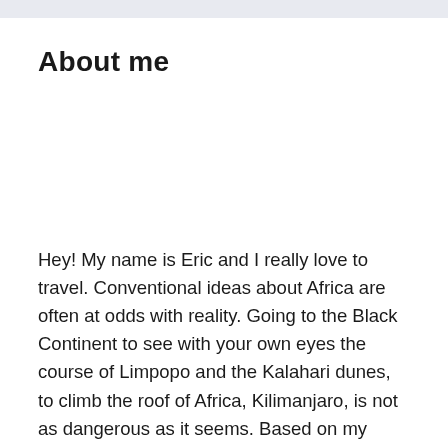About me
Hey! My name is Eric and I really love to travel. Conventional ideas about Africa are often at odds with reality. Going to the Black Continent to see with your own eyes the course of Limpopo and the Kalahari dunes, to climb the roof of Africa, Kilimanjaro, is not as dangerous as it seems. Based on my eight-month trip to Africa, I have prepared useful